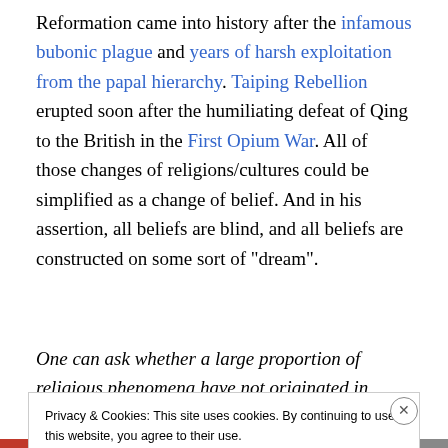Reformation came into history after the infamous bubonic plague and years of harsh exploitation from the papal hierarchy. Taiping Rebellion erupted soon after the humiliating defeat of Qing to the British in the First Opium War. All of those changes of religions/cultures could be simplified as a change of belief. And in his assertion, all beliefs are blind, and all beliefs are constructed on some sort of “dream”.
One can ask whether a large proportion of religious phenomena have not originated in personality
Privacy & Cookies: This site uses cookies. By continuing to use this website, you agree to their use.
To find out more, including how to control cookies, see here: Cookie Policy